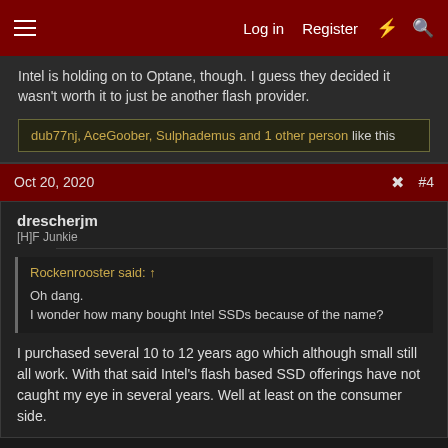Log in  Register  #4
Intel is holding on to Optane, though. I guess they decided it wasn't worth it to just be another flash provider.
dub77nj, AceGoober, Sulphademus and 1 other person like this
Oct 20, 2020  #4
drescherjm
[H]F Junkie
Rockenrooster said:
Oh dang.
I wonder how many bought Intel SSDs because of the name?
I purchased several 10 to 12 years ago which although small still all work. With that said Intel's flash based SSD offerings have not caught my eye in several years. Well at least on the consumer side.